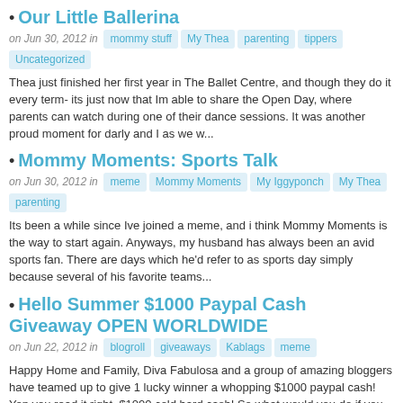Our Little Ballerina
on Jun 30, 2012 in  mommy stuff  My Thea  parenting  tippers  Uncategorized
Thea just finished her first year in The Ballet Centre, and though they do it every term- its just now that Im able to share the Open Day, where parents can watch during one of their dance sessions. It was another proud moment for darly and I as we w...
Mommy Moments: Sports Talk
on Jun 30, 2012 in  meme  Mommy Moments  My Iggyponch  My Thea  parenting
Its been a while since Ive joined a meme, and i think Mommy Moments is the way to start again. Anyways, my husband has always been an avid sports fan. There are days which he'd refer to as sports day simply because several of his favorite teams...
Hello Summer $1000 Paypal Cash Giveaway OPEN WORLDWIDE
on Jun 22, 2012 in  blogroll  giveaways  Kablags  meme
Happy Home and Family, Diva Fabulosa and a group of amazing bloggers have teamed up to give 1 lucky winner a whopping $1000 paypal cash! Yep you read it right, $1000 cold hard cash! So what would you do if you win $1000? Go on a holiday ? Have a home...
Iggy's Birthday Kwento and Supplier's Rating
on Jun 21, 2012 in  celebrations  family  Mommy Moments  mommy stuff  My Iggyponch  parenting  Ponchie
Warning: This is a super late and super long post. Iggy's first birthday party was